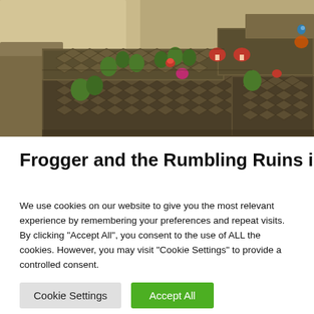[Figure (screenshot): Game screenshot of Frogger and the Rumbling Ruins showing an isometric view of ancient stone ruins with cacti, mushrooms, and platform levels in a warm desert setting.]
Frogger and the Rumbling Ruins is a follow-
We use cookies on our website to give you the most relevant experience by remembering your preferences and repeat visits. By clicking “Accept All”, you consent to the use of ALL the cookies. However, you may visit "Cookie Settings" to provide a controlled consent.